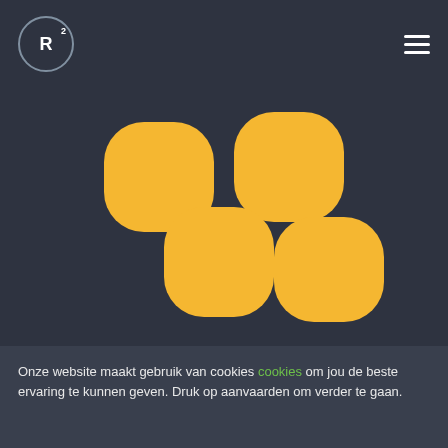[Figure (logo): R-squared logo in circular border in navbar, with hamburger menu icon on right]
[Figure (illustration): Four golden/yellow rounded square cookie shapes arranged in a 2x2 offset grid pattern on dark background]
Onze website maakt gebruik van cookies cookies om jou de beste ervaring te kunnen geven. Druk op aanvaarden om verder te gaan.
Aanvaard cookies
Weiger cookies